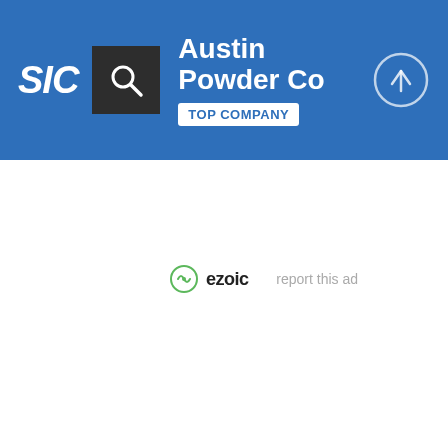SIC | Austin Powder Co | TOP COMPANY
[Figure (logo): Ezoic logo with green circular icon and 'ezoic' text, with 'report this ad' link to the right]